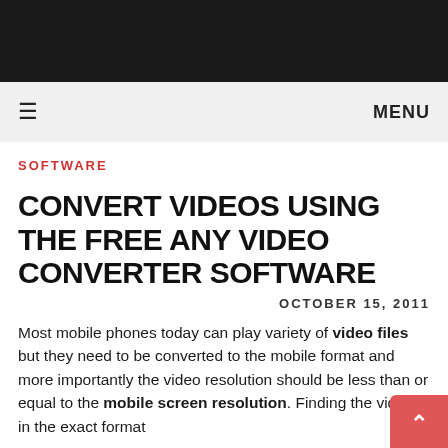≡  MENU
SOFTWARE
CONVERT VIDEOS USING THE FREE ANY VIDEO CONVERTER SOFTWARE
OCTOBER 15, 2011
Most mobile phones today can play variety of video files but they need to be converted to the mobile format and more importantly the video resolution should be less than or equal to the mobile screen resolution. Finding the videos in the exact format